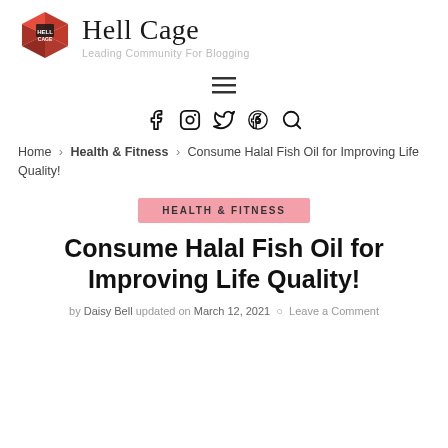Hell Cage — Leading Community For Blogging
[Figure (logo): Hell Cage logo: red geometric cage/cube icon with 'HELL CAGE' text on a white background]
≡ (hamburger menu icon)
[Figure (infographic): Social media icons: Facebook, Instagram, Twitter, Pinterest, Search]
Home > Health & Fitness > Consume Halal Fish Oil for Improving Life Quality!
HEALTH & FITNESS
Consume Halal Fish Oil for Improving Life Quality!
by Daisy Bell updated on March 12, 2021 Leave a Comment